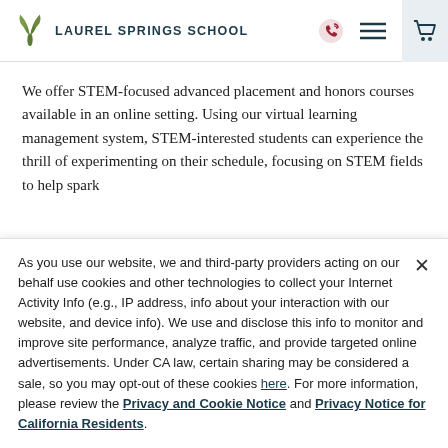Laurel Springs School
We offer STEM-focused advanced placement and honors courses available in an online setting. Using our virtual learning management system, STEM-interested students can experience the thrill of experimenting on their schedule, focusing on STEM fields to help spark
As you use our website, we and third-party providers acting on our behalf use cookies and other technologies to collect your Internet Activity Info (e.g., IP address, info about your interaction with our website, and device info). We use and disclose this info to monitor and improve site performance, analyze traffic, and provide targeted online advertisements. Under CA law, certain sharing may be considered a sale, so you may opt-out of these cookies here. For more information, please review the Privacy and Cookie Notice and Privacy Notice for California Residents.